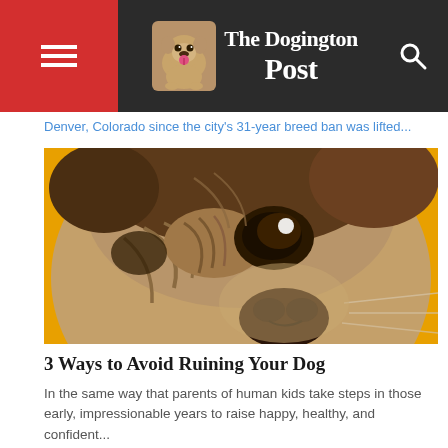The Dogington Post
Denver, Colorado since the city's 31-year breed ban was lifted...
[Figure (photo): Close-up photo of a pug dog looking up at the camera against a golden/amber yellow background]
3 Ways to Avoid Ruining Your Dog
In the same way that parents of human kids take steps in those early, impressionable years to raise happy, healthy, and confident...